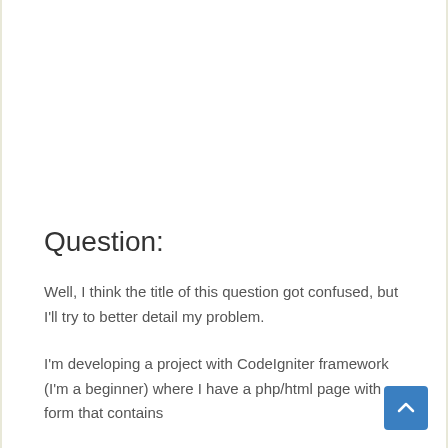Question:
Well, I think the title of this question got confused, but I'll try to better detail my problem.
I'm developing a project with CodeIgniter framework (I'm a beginner) where I have a php/html page with a form that contains